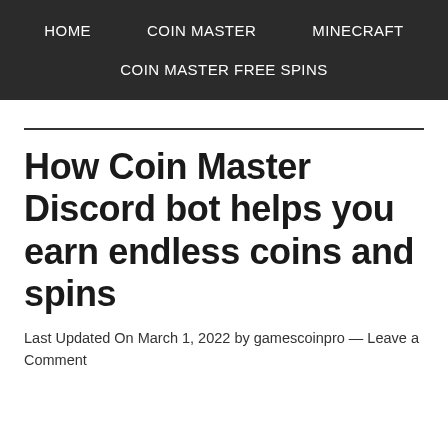HOME   COIN MASTER   MINECRAFT   COIN MASTER FREE SPINS
How Coin Master Discord bot helps you earn endless coins and spins
Last Updated On March 1, 2022 by gamescoinpro — Leave a Comment